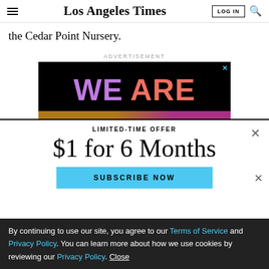Los Angeles Times
the Cedar Point Nursery.
ADVERTISEMENT
[Figure (other): Black advertisement banner with colorful 'WE ARE' text in purple and coral colors]
LIMITED-TIME OFFER
$1 for 6 Months
SUBSCRIBE NOW
By continuing to use our site, you agree to our Terms of Service and Privacy Policy. You can learn more about how we use cookies by reviewing our Privacy Policy. Close